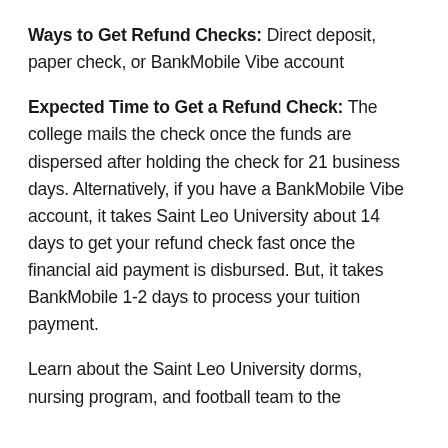Ways to Get Refund Checks: Direct deposit, paper check, or BankMobile Vibe account
Expected Time to Get a Refund Check: The college mails the check once the funds are dispersed after holding the check for 21 business days. Alternatively, if you have a BankMobile Vibe account, it takes Saint Leo University about 14 days to get your refund check fast once the financial aid payment is disbursed. But, it takes BankMobile 1-2 days to process your tuition payment.
Learn about the Saint Leo University dorms, nursing program, and football team to the school collection store.